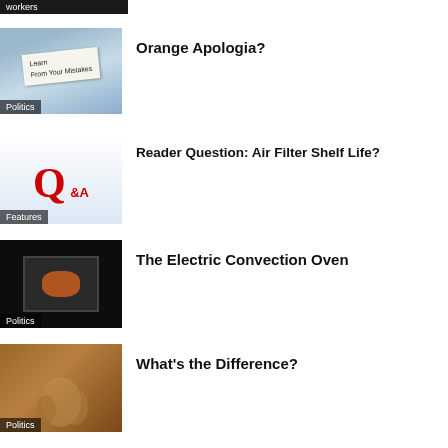[Figure (photo): Clipped top of image with dark background and text 'workers']
[Figure (photo): Hand holding a note card with 'Learn From Your Mistakes' written on it, sky background]
Politics
Orange Apologia?
[Figure (photo): Q&A graphic with large red Q and small figures]
Features
Reader Question: Air Filter Shelf Life?
[Figure (photo): Electric convection oven with pizza inside, dark background]
Politics
The Electric Convection Oven
[Figure (photo): Mural painting with figures]
Politics
What's the Difference?
[Figure (photo): Landscape photo with dark sky and water]
2023 Chevy Malibu